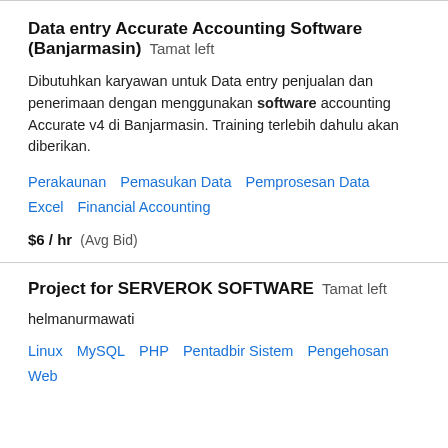Data entry Accurate Accounting Software (Banjarmasin)  Tamat left
Dibutuhkan karyawan untuk Data entry penjualan dan penerimaan dengan menggunakan software accounting Accurate v4 di Banjarmasin. Training terlebih dahulu akan diberikan.
Perakaunan   Pemasukan Data   Pemprosesan Data   Excel   Financial Accounting
$6 / hr  (Avg Bid)
Project for SERVEROK SOFTWARE  Tamat left
helmanurmawati
Linux   MySQL   PHP   Pentadbir Sistem   Pengehosan Web